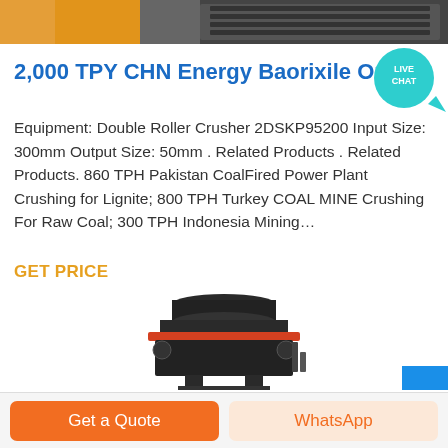[Figure (photo): Top banner image showing industrial crushing/mining equipment with orange and gray colored parts]
2,000 TPY CHN Energy Baorixile Open Pit C…
Equipment: Double Roller Crusher 2DSKP95200 Input Size: 300mm Output Size: 50mm . Related Products . Related Products. 860 TPH Pakistan CoalFired Power Plant Crushing for Lignite; 800 TPH Turkey COAL MINE Crushing For Raw Coal; 300 TPH Indonesia Mining…
GET PRICE
[Figure (photo): Industrial cone crusher / mining equipment machine in black and orange, photographed on white background]
Get a Quote
WhatsApp